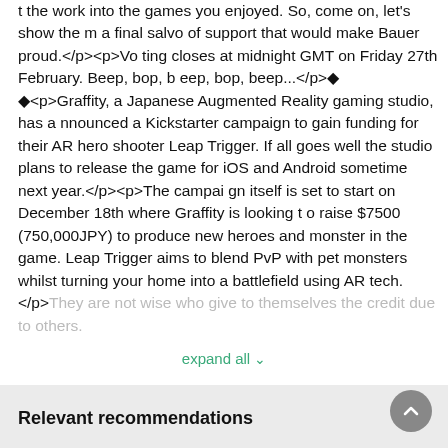t the work into the games you enjoyed. So, come on, let's show them a final salvo of support that would make Bauer proud.</p><p>Voting closes at midnight GMT on Friday 27th February. Beep, bop, beep, bop, beep...</p>◆<p>Graffity, a Japanese Augmented Reality gaming studio, has announced a Kickstarter campaign to gain funding for their AR hero shooter Leap Trigger. If all goes well the studio plans to release the game for iOS and Android sometime next year.</p><p>The campaign itself is set to start on December 18th where Graffity is looking to raise $7500 (750,000JPY) to produce new heroes and monster in the game. Leap Trigger aims to blend PvP with pet monsters whilst turning your home into a battlefield using AR tech.</p>They are not wise who give to themselves the credit due to others.
expand all
Relevant recommendations